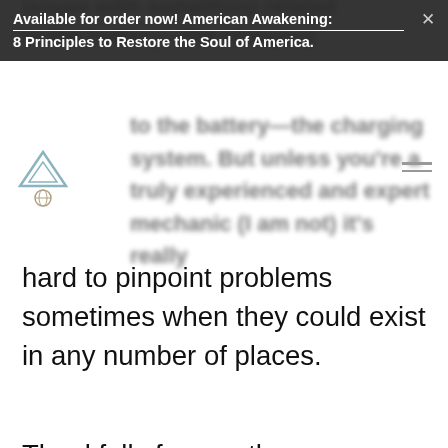Available for order now! American Awakening: 8 Principles to Restore the Soul of America.
[Figure (logo): Website logo: a triangle/house outline shape with a globe icon below it]
issues with something related to the battery—the charging system. But unless you're a truly experienced and expert mechanic (I am not) it's really hard to pinpoint problems sometimes when they could exist in any number of places.
Thankfully for me, there was Marcus. Marcus was the young worker at the auto parts store who, by his telling, had been working on cars since he was 5. I believe him.